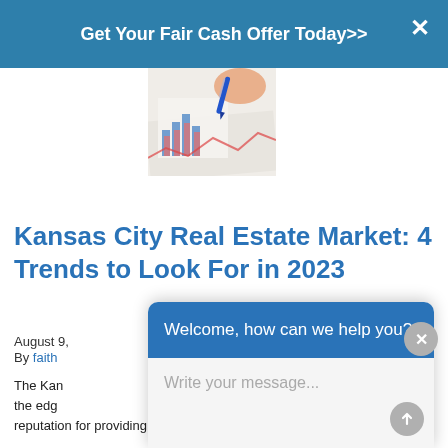Get Your Fair Cash Offer Today>>
[Figure (photo): A hand holding a blue pen over charts and graphs on paper, showing bar charts and line graphs.]
Kansas City Real Estate Market: 4 Trends to Look For in 2023
August 9,
By faith
The Kan the edg reputation for providing excellent investment options
[Figure (screenshot): Chat widget popup overlay with header 'Welcome, how can we help you?' and a message input field with placeholder text 'Write your message...' and a send button.]